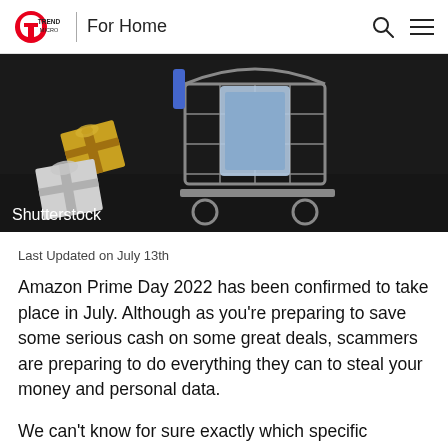Trend Micro | For Home
[Figure (photo): Miniature shopping cart with a smartphone inside, alongside small gift boxes on a dark background. Shutterstock watermark in lower left.]
Shutterstock
Last Updated on July 13th
Amazon Prime Day 2022 has been confirmed to take place in July. Although as you're preparing to save some serious cash on some great deals, scammers are preparing to do everything they can to steal your money and personal data.
We can't know for sure exactly which specific